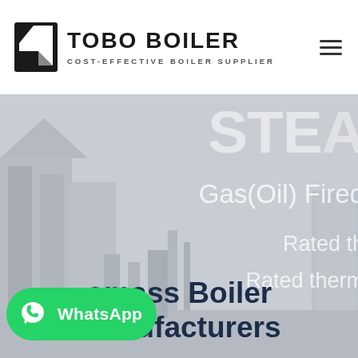TOBO BOILER - COST-EFFECTIVE BOILER SUPPLIER
[Figure (screenshot): Tobo Boiler website screenshot showing hero banner with text 'STE...' (STEAM), 'Gas(Oil) Fired', 'Rated th...', 'Rated therm...' overlaid on a gray industrial background with building silhouettes. Bottom section shows '...omass Boiler Manufacturers' in dark navy bold text. A WhatsApp button is visible in the lower left.]